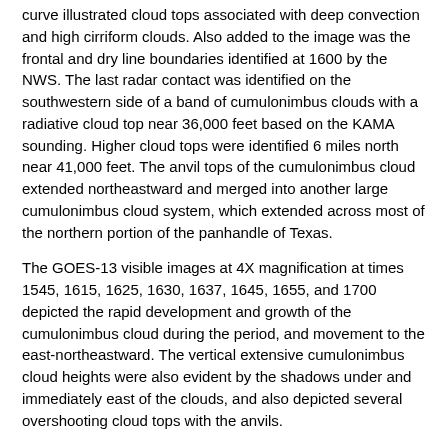curve illustrated cloud tops associated with deep convection and high cirriform clouds. Also added to the image was the frontal and dry line boundaries identified at 1600 by the NWS. The last radar contact was identified on the southwestern side of a band of cumulonimbus clouds with a radiative cloud top near 36,000 feet based on the KAMA sounding. Higher cloud tops were identified 6 miles north near 41,000 feet. The anvil tops of the cumulonimbus cloud extended northeastward and merged into another large cumulonimbus cloud system, which extended across most of the northern portion of the panhandle of Texas.
The GOES-13 visible images at 4X magnification at times 1545, 1615, 1625, 1630, 1637, 1645, 1655, and 1700 depicted the rapid development and growth of the cumulonimbus cloud during the period, and movement to the east-northeastward. The vertical extensive cumulonimbus cloud heights were also evident by the shadows under and immediately east of the clouds, and also depicted several overshooting cloud tops with the anvils.
In-Flight Weather Advisories